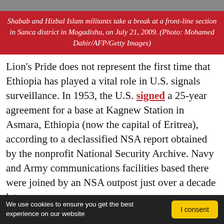[Figure (photo): Photo strip at top of page showing militants at a front-line section]
Shabab and Hizbul Islam militants take a break at a front-line section in Sanca district in Mogadishu, on July 21, 2009. (Photo: Mohamed Dahir/AFP/Getty Images)
Lion's Pride does not represent the first time that Ethiopia has played a vital role in U.S. signals surveillance. In 1953, the U.S. signed a 25-year agreement for a base at Kagnew Station in Asmara, Ethiopia (now the capital of Eritrea), according to a declassified NSA report obtained by the nonprofit National Security Archive. Navy and Army communications facilities based there were joined by an NSA outpost just over a decade later.
On April 23, 1965, the Soviet Union launched Molniya-1, its first international communications satellite. The next month,
We use cookies to ensure you get the best experience on our website